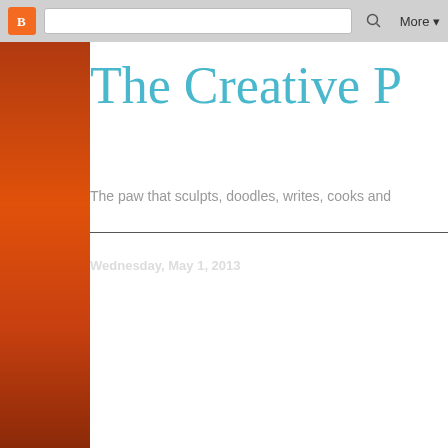[Figure (screenshot): Browser chrome bar with Blogger orange icon, search box, and More dropdown]
The Creative ...
The paw that sculpts, doodles, writes, cooks and ...
Wednesday, May 1, 2013
Reality Check..
So what happens when I get happiness more than I deserve,
When I am  happy beyond what I can imagine,
When I am the center of attraction,
When I feel every dream of mine is about to come true, in fact s...
When everyone around me shows me how much they love me,
When for once, I am satisfied that maybe I am not as bad as I t...